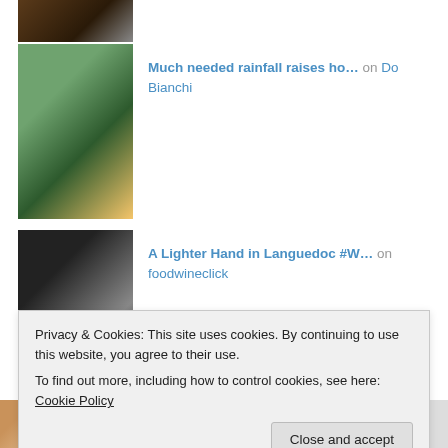[Figure (photo): Small thumbnail of wine bottles, partially cropped at top]
[Figure (photo): Photo of a man smiling in a vineyard with green grape leaves]
Much needed rainfall raises ho… on Do Bianchi
[Figure (photo): Photo of food on a dark plate — appears to be tacos or wraps with greens]
A Lighter Hand in Languedoc #W… on foodwineclick
Bi... d Foll...
Privacy & Cookies: This site uses cookies. By continuing to use this website, you agree to their use.
To find out more, including how to control cookies, see here: Cookie Policy
Close and accept
[Figure (photo): Bottom strip of three thumbnail images: hands, drinks, dark image with button]